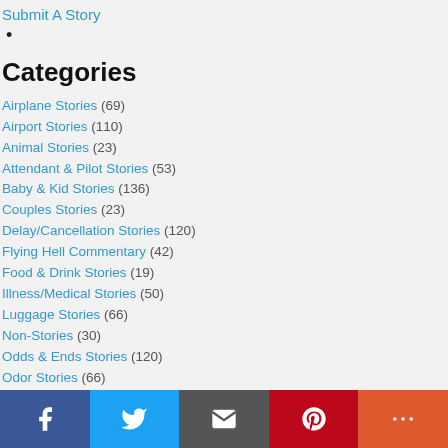Submit A Story
•
Categories
Airplane Stories (69)
Airport Stories (110)
Animal Stories (23)
Attendant & Pilot Stories (53)
Baby & Kid Stories (136)
Couples Stories (23)
Delay/Cancellation Stories (120)
Flying Hell Commentary (42)
Food & Drink Stories (19)
Illness/Medical Stories (50)
Luggage Stories (66)
Non-Stories (30)
Odds & Ends Stories (120)
Odor Stories (66)
Passenger Stories (177)
Portly Stories (77)
Seat Stories (65)
Facebook | Twitter | Email | Pinterest | More